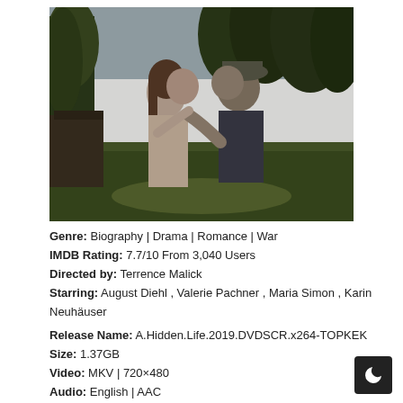[Figure (photo): Movie still showing two people about to kiss outdoors in a forested, rural setting. A woman in a light blouse and a man in a military cap are leaning toward each other with trees and a wooden structure in the background.]
Genre: Biography | Drama | Romance | War
IMDB Rating: 7.7/10 From 3,040 Users
Directed by: Terrence Malick
Starring: August Diehl , Valerie Pachner , Maria Simon , Karin Neuhäuser
Release Name: A.Hidden.Life.2019.DVDSCR.x264-TOPKEK
Size: 1.37GB
Video: MKV | 720×480
Audio: English | AAC